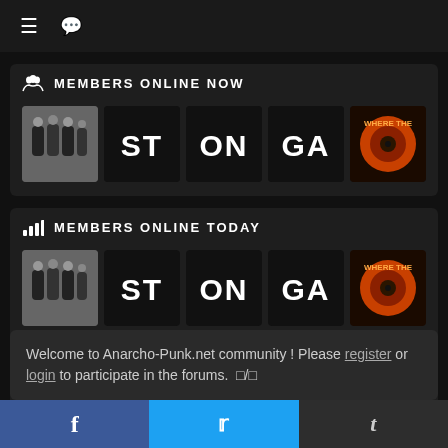Navigation bar with menu and chat icons
MEMBERS ONLINE NOW
[Figure (other): Row of 5 member avatars: group photo, ST stencil, ON stencil, GA stencil, colored record/roulette image]
MEMBERS ONLINE TODAY
[Figure (other): Two rows of member avatars: row1: group photo, ST stencil, ON stencil, GA stencil, colored image; row2: MO stencil, black/white photo, NI stencil, BA stencil, purple-hued photo]
Welcome to Anarcho-Punk.net community ! Please register or login to participate in the forums.
Share bar: Facebook, Twitter, Tumblr